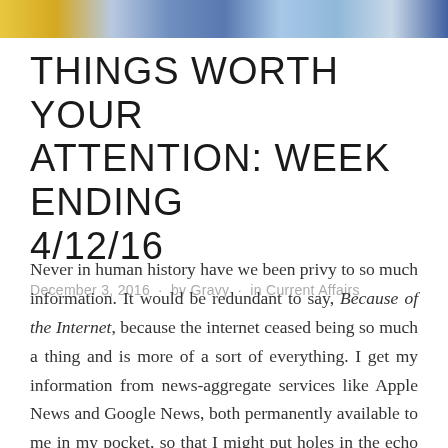[Figure (photo): Colorful horizontal image strip at the top of the page showing various colored segments.]
THINGS WORTH YOUR ATTENTION: WEEK ENDING 4/12/16
December 3, 2016 · by Gravy · in Current Affairs
Never in human history have we been privy to so much information. It would be redundant to say, Because of the Internet, because the internet ceased being so much a thing and is more of a sort of everything. I get my information from news-aggregate services like Apple News and Google News, both permanently available to me in my pocket, so that I might put holes in the echo chamber with the occasional Daily Mail or News Corpse article. I find that a ratio of one right-wing-sensationalism for every dozen The Guardians is